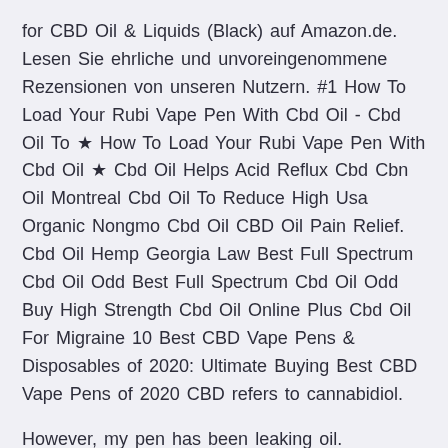for CBD Oil & Liquids (Black) auf Amazon.de. Lesen Sie ehrliche und unvoreingenommene Rezensionen von unseren Nutzern. #1 How To Load Your Rubi Vape Pen With Cbd Oil - Cbd Oil To ★ How To Load Your Rubi Vape Pen With Cbd Oil ★ Cbd Oil Helps Acid Reflux Cbd Cbn Oil Montreal Cbd Oil To Reduce High Usa Organic Nongmo Cbd Oil CBD Oil Pain Relief. Cbd Oil Hemp Georgia Law Best Full Spectrum Cbd Oil Odd Best Full Spectrum Cbd Oil Odd Buy High Strength Cbd Oil Online Plus Cbd Oil For Migraine 10 Best CBD Vape Pens & Disposables of 2020: Ultimate Buying Best CBD Vape Pens of 2020 CBD refers to cannabidiol.
However, my pen has been leaking oil.
enthält cv sciences cbd oil das_